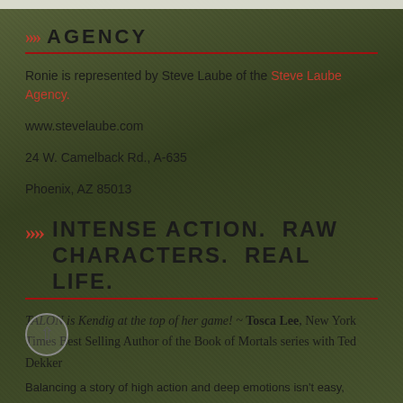Agency
Ronie is represented by Steve Laube of the Steve Laube Agency.
www.stevelaube.com
24 W. Camelback Rd., A-635
Phoenix, AZ 85013
Intense Action. Raw Characters. Real Life.
TALON is Kendig at the top of her game! ~ Tosca Lee, New York Times Best Selling Author of the Book of Mortals series with Ted Dekker
Balancing a story of high action and deep emotions isn't easy,